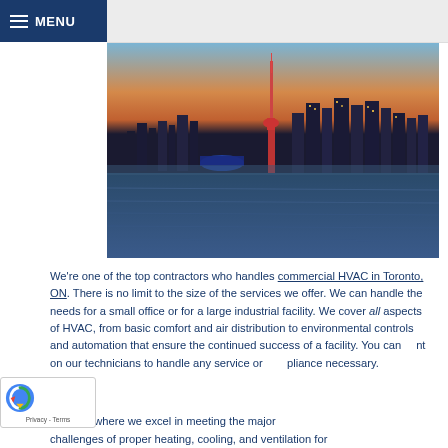MENU
[Figure (photo): Toronto city skyline at dusk/sunset viewed from the water, featuring the CN Tower prominently in the center, with city buildings lit up and reflecting on the water in the foreground.]
We're one of the top contractors who handles commercial HVAC in Toronto, ON. There is no limit to the size of the services we offer. We can handle the needs for a small office or for a large industrial facility. We cover all aspects of HVAC, from basic comfort and air distribution to environmental controls and automation that ensure the continued success of a facility. You can count on our technicians to handle any service or compliance necessary.
e area where we excel in meeting the major challenges of proper heating, cooling, and ventilation for